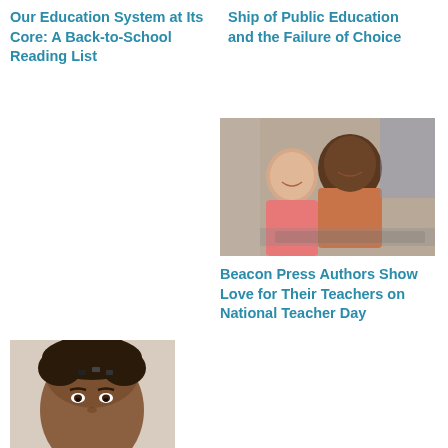Our Education System at Its Core: A Back-to-School Reading List
Ship of Public Education and the Failure of Choice
[Figure (photo): Adult man and young girl smiling together at a computer, likely in a classroom or tutoring setting]
Beacon Press Authors Show Love for Their Teachers on National Teacher Day
[Figure (photo): Close-up portrait of a young man with hair clips/accessories on his forehead, looking slightly downward]